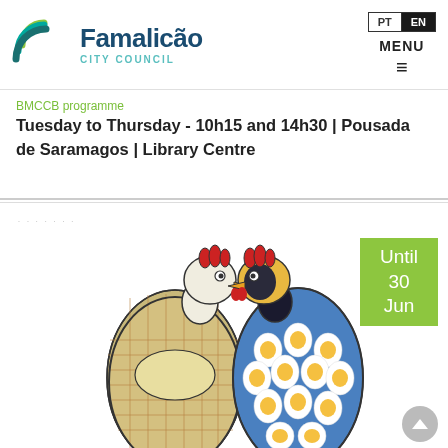Famalicão City Council
BMCCB programme
Tuesday to Thursday - 10h15 and 14h30 | Pousada de Saramagos | Library Centre
[Figure (illustration): Two cartoon chicken characters facing each other — one in a plaid dress, one in a blue egg-patterned dress. A green badge reads 'Until 30 Jun'.]